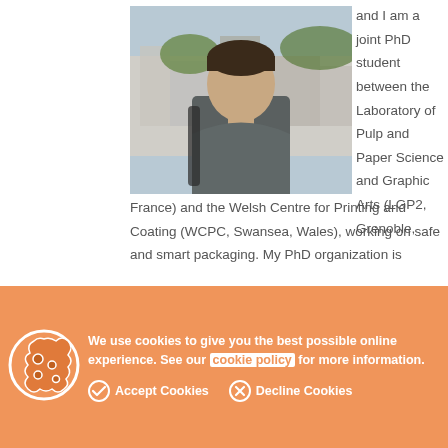[Figure (photo): Young man with dark hair standing outdoors with a European city skyline in the background, wearing a grey t-shirt with a backpack.]
and I am a joint PhD student between the Laboratory of Pulp and Paper Science and Graphic Arts (LGP2, Grenoble, France) and the Welsh Centre for Printing and Coating (WCPC, Swansea, Wales), working on safe and smart packaging. My PhD organization is
We use cookies to give you the best possible online experience. See our cookie policy for more information.
Accept Cookies   Decline Cookies